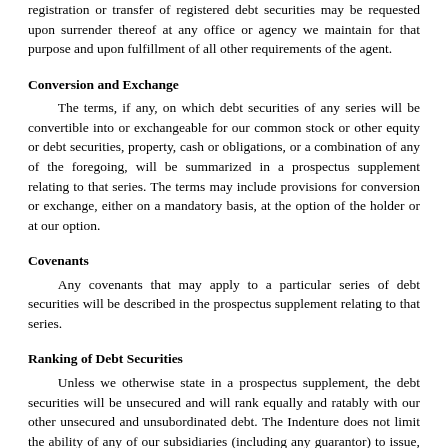registration or transfer of registered debt securities may be requested upon surrender thereof at any office or agency we maintain for that purpose and upon fulfillment of all other requirements of the agent.
Conversion and Exchange
The terms, if any, on which debt securities of any series will be convertible into or exchangeable for our common stock or other equity or debt securities, property, cash or obligations, or a combination of any of the foregoing, will be summarized in a prospectus supplement relating to that series. The terms may include provisions for conversion or exchange, either on a mandatory basis, at the option of the holder or at our option.
Covenants
Any covenants that may apply to a particular series of debt securities will be described in the prospectus supplement relating to that series.
Ranking of Debt Securities
Unless we otherwise state in a prospectus supplement, the debt securities will be unsecured and will rank equally and ratably with our other unsecured and unsubordinated debt. The Indenture does not limit the ability of any of our subsidiaries (including any guarantor) to issue, assume or guarantee debt, and the debt securities will be effectively subordinated to all existing and future indebtedness and other liabilities and commitments of our non-guarantor subsidiaries.